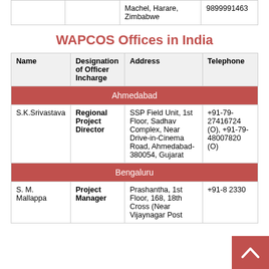| Name | Designation of Officer Incharge | Address | Telephone |
| --- | --- | --- | --- |
|  |  | Machel, Harare, Zimbabwe | 9899991463 |
WAPCOS Offices in India
| Name | Designation of Officer Incharge | Address | Telephone |
| --- | --- | --- | --- |
| Ahmedabad |  |  |  |
| S.K.Srivastava | Regional Project Director | SSP Field Unit, 1st Floor, Sadhav Complex, Near Drive-in-Cinema Road, Ahmedabad-380054, Gujarat | +91-79-27416724 (O), +91-79-48007820 (O) |
| Bengaluru |  |  |  |
| S. M. Mallappa | Project Manager | Prashantha, 1st Floor, 168, 18th Cross (Near Vijaynagar Post | +91-8 2330 |